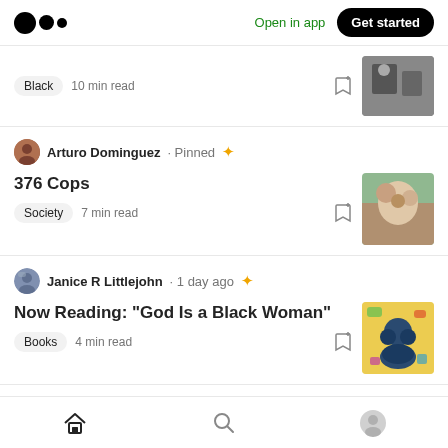Medium logo | Open in app | Get started
Black · 10 min read
Arturo Dominguez · Pinned ★ 376 Cops | Society · 7 min read
Janice R Littlejohn · 1 day ago ★ Now Reading: "God Is a Black Woman" | Books · 4 min read
Home | Search | Profile